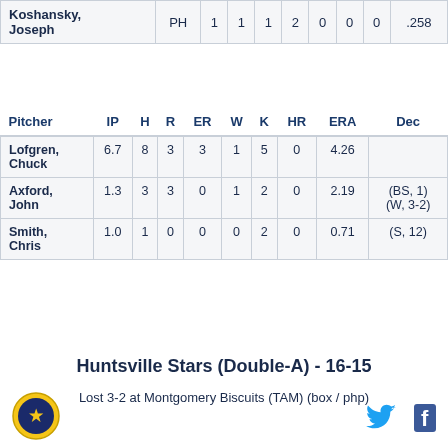| Koshansky, Joseph | PH | 1 | 1 | 1 | 2 | 0 | 0 | 0 | .258 |
| Pitcher | IP | H | R | ER | W | K | HR | ERA | Dec |
| --- | --- | --- | --- | --- | --- | --- | --- | --- | --- |
| Lofgren, Chuck | 6.7 | 8 | 3 | 3 | 1 | 5 | 0 | 4.26 |  |
| Axford, John | 1.3 | 3 | 3 | 0 | 1 | 2 | 0 | 2.19 | (BS, 1) (W, 3-2) |
| Smith, Chris | 1.0 | 1 | 0 | 0 | 0 | 2 | 0 | 0.71 | (S, 12) |
Huntsville Stars (Double-A) - 16-15
Lost 3-2 at Montgomery Biscuits (TAM) (box / php)